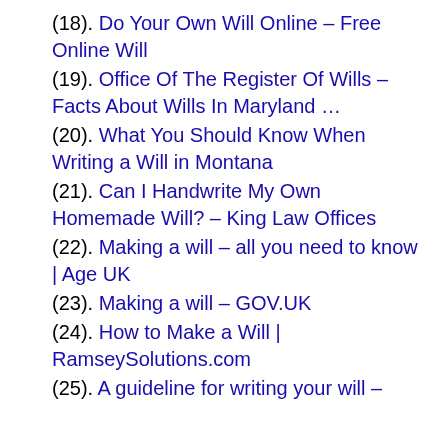(18). Do Your Own Will Online – Free Online Will
(19). Office Of The Register Of Wills – Facts About Wills In Maryland …
(20). What You Should Know When Writing a Will in Montana
(21). Can I Handwrite My Own Homemade Will? – King Law Offices
(22). Making a will – all you need to know | Age UK
(23). Making a will – GOV.UK
(24). How to Make a Will | RamseySolutions.com
(25). A guideline for writing your will –